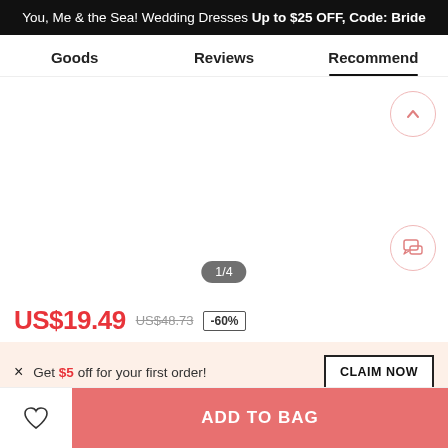You, Me & the Sea! Wedding Dresses Up to $25 OFF, Code: Bride
Goods | Reviews | Recommend
[Figure (photo): Product image area (blank/white) for wedding dress, with image counter showing 1/4 and navigation buttons]
US$19.49  US$48.73  -60%
× Get $5 off for your first order!  CLAIM NOW
ADD TO BAG